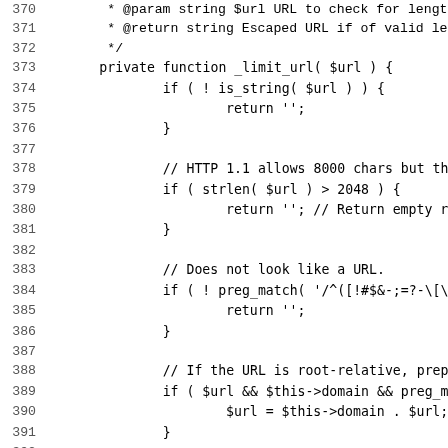[Figure (screenshot): PHP source code snippet showing a private function _limit_url() with line numbers 370-402. The code includes URL validation logic: checking if the value is a string, checking URL length against 2048 characters, validating URL format with regex preg_match, handling root-relative URLs by prepending domain, checking for absolute or protocol-relative URLs, and returning esc_url_raw(). Lines 401-402 begin a new docblock comment for a utility method to limit image source URLs.]